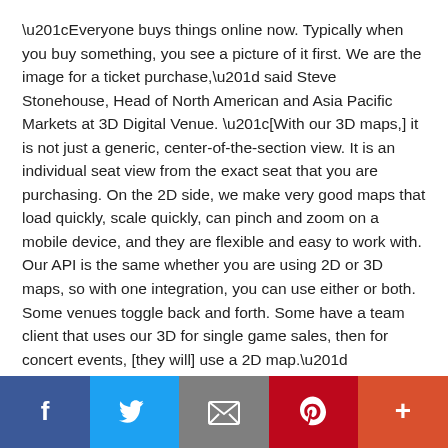“Everyone buys things online now. Typically when you buy something, you see a picture of it first. We are the image for a ticket purchase,” said Steve Stonehouse, Head of North American and Asia Pacific Markets at 3D Digital Venue. “[With our 3D maps,] it is not just a generic, center-of-the-section view. It is an individual seat view from the exact seat that you are purchasing. On the 2D side, we make very good maps that load quickly, scale quickly, can pinch and zoom on a mobile device, and they are flexible and easy to work with. Our API is the same whether you are using 2D or 3D maps, so with one integration, you can use either or both. Some venues toggle back and forth. Some have a team client that uses our 3D for single game sales, then for concert events, [they will] use a 2D map.”
[Figure (other): Social sharing bar with five buttons: Facebook (dark blue), Twitter (light blue), Email/envelope (gray), Pinterest (dark red), and More/plus (orange-red)]